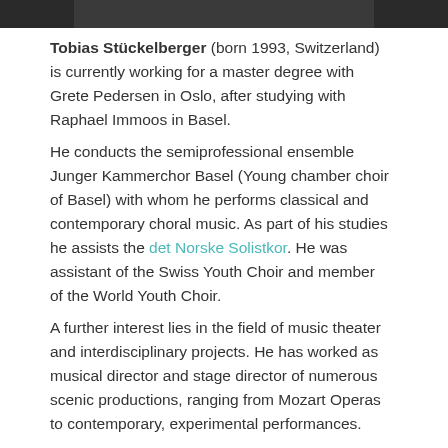[Figure (photo): Top portion of a black and white portrait photo of Tobias Stückelberger, cropped at the top of the page.]
Tobias Stückelberger (born 1993, Switzerland) is currently working for a master degree with Grete Pedersen in Oslo, after studying with Raphael Immoos in Basel.
He conducts the semiprofessional ensemble Junger Kammerchor Basel (Young chamber choir of Basel) with whom he performs classical and contemporary choral music. As part of his studies he assists the det Norske Solistkor. He was assistant of the Swiss Youth Choir and member of the World Youth Choir.
A further interest lies in the field of music theater and interdisciplinary projects. He has worked as musical director and stage director of numerous scenic productions, ranging from Mozart Operas to contemporary, experimental performances.